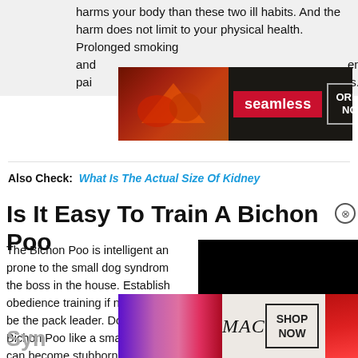harms your body than these two ill habits. And the harm does not limit to your physical health. Prolonged smoking and ... intense pain ... ns.
[Figure (screenshot): Seamless food delivery ad banner with pizza image, 'seamless' red badge, and 'ORDER NOW' button on dark background]
Also Check: What Is The Actual Size Of Kidney
Is It Easy To Train A Bichon Poo
[Figure (screenshot): Black video overlay panel covering right portion of article]
The Bichon Poo is intelligent and ... prone to the small dog syndrome ... the boss in the house. Establish ... obedience training if necessary, and be the pack leader. Do not treat the Bichon Poo like a small child or it can become stubborn and demanding.
[Figure (screenshot): MAC cosmetics ad banner with lipsticks image, MAC logo, and 'SHOP NOW' button]
Syn